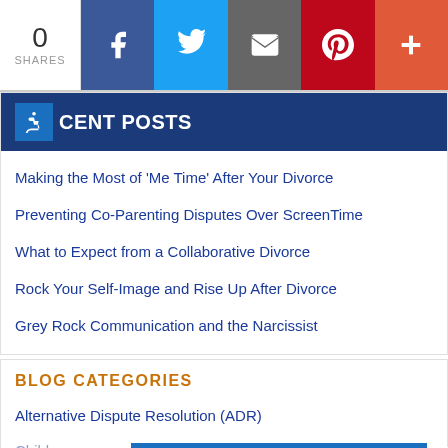[Figure (infographic): Social share bar with share count of 0, and buttons for Facebook, Twitter, Email, Pinterest, and More (+)]
RECENT POSTS
Making the Most of 'Me Time' After Your Divorce
Preventing Co-Parenting Disputes Over ScreenTime
What to Expect from a Collaborative Divorce
Rock Your Self-Image and Rise Up After Divorce
Grey Rock Communication and the Narcissist
BLOG CATEGORIES
Alternative Dispute Resolution (ADR)
Children's and Parenting Issues after Divorce
Children's and Parenting Issues after Divorce
[Figure (infographic): Advertisement overlay: Fairfax Top-Rated Divorce Lawyer - Thoughtful · Thorough · Trusted with WM logo and close button]